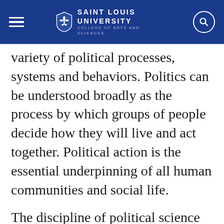SAINT LOUIS UNIVERSITY — COLLEGE OF ARTS AND SCIENCES
variety of political processes, systems and behaviors. Politics can be understood broadly as the process by which groups of people decide how they will live and act together. Political action is the essential underpinning of all human communities and social life.
The discipline of political science covers many topics, from campaigns and elections in the United States, to economic